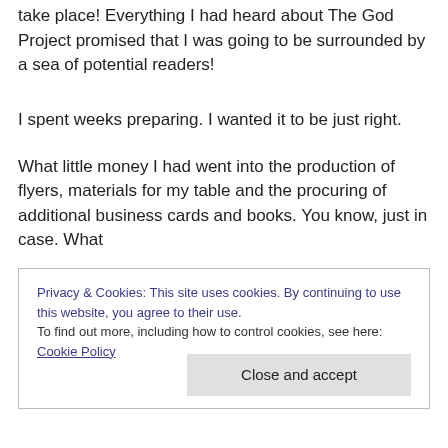take place!  Everything I had heard about The God Project promised that I was going to be surrounded by a sea of potential readers!
I spent weeks preparing.  I wanted it to be just right.
What little money I had went into the production of flyers, materials for my table and the procuring of additional business cards and books.  You know, just in case.  What
Privacy & Cookies: This site uses cookies. By continuing to use this website, you agree to their use.
To find out more, including how to control cookies, see here: Cookie Policy
Close and accept